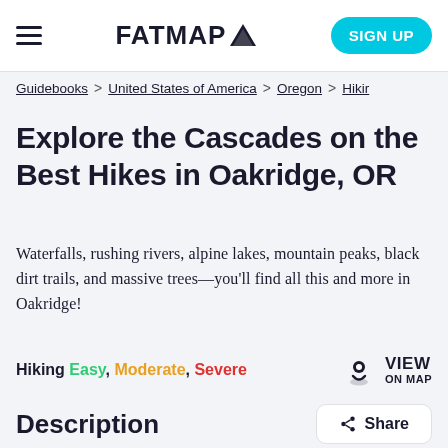FATMAP — SIGN UP
Guidebooks > United States of America > Oregon > Hiking
Explore the Cascades on the Best Hikes in Oakridge, OR
Waterfalls, rushing rivers, alpine lakes, mountain peaks, black dirt trails, and massive trees—you'll find all this and more in Oakridge!
Hiking Easy, Moderate, Severe
Description